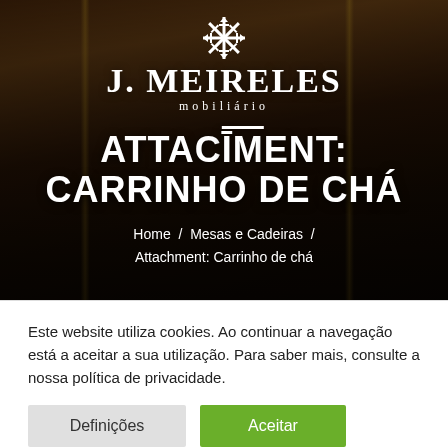[Figure (screenshot): Hero banner with dark wood furniture background and J. Meireles Mobiliário logo (white snowflake icon above text)]
ATTACHMENT: CARRINHO DE CHÁ
Home / Mesas e Cadeiras / Attachment: Carrinho de chá
Este website utiliza cookies. Ao continuar a navegação está a aceitar a sua utilização. Para saber mais, consulte a nossa política de privacidade.
Definições
Aceitar